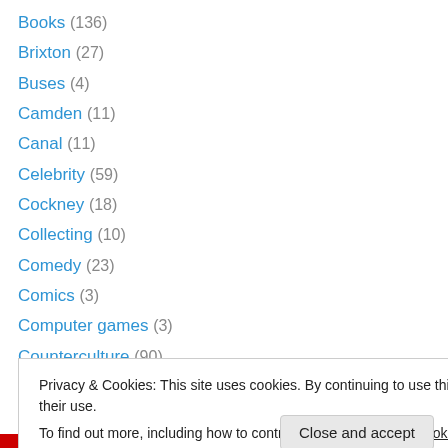Books (136)
Brixton (27)
Buses (4)
Camden (11)
Canal (11)
Celebrity (59)
Cockney (18)
Collecting (10)
Comedy (23)
Comics (3)
Computer games (3)
Counterculture (90)
Crime (28)
Privacy & Cookies: This site uses cookies. By continuing to use this website, you agree to their use. To find out more, including how to control cookies, see here: Cookie Policy
Close and accept